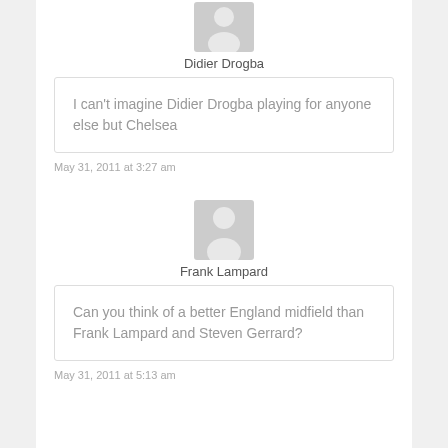[Figure (illustration): Generic user avatar icon (gray silhouette) for Didier Drogba]
Didier Drogba
I can't imagine Didier Drogba playing for anyone else but Chelsea
May 31, 2011 at 3:27 am
[Figure (illustration): Generic user avatar icon (gray silhouette) for Frank Lampard]
Frank Lampard
Can you think of a better England midfield than Frank Lampard and Steven Gerrard?
May 31, 2011 at 5:13 am